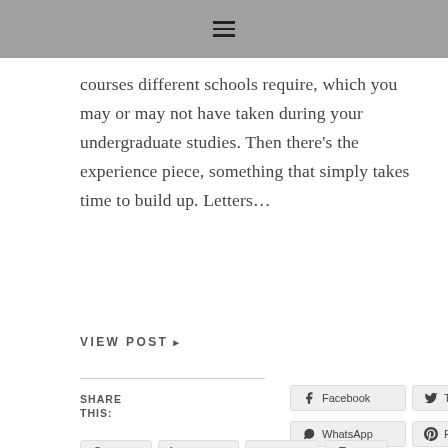≡
courses different schools require, which you may or may not have taken during your undergraduate studies. Then there's the experience piece, something that simply takes time to build up. Letters…
VIEW POST ▸
SHARE THIS:
Facebook Twitter WhatsApp Pinterest Reddit LinkedIn Tumblr Print